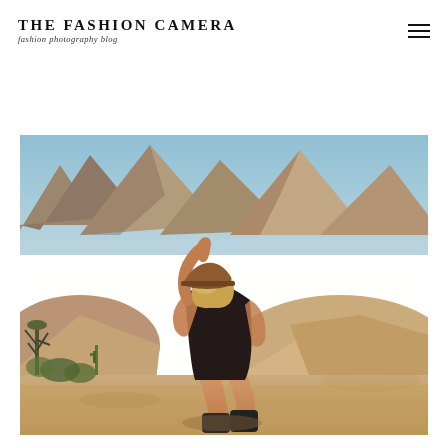THE FASHION CAMERA fashion photography blog
[Figure (photo): A blonde woman wearing a brown fedora hat and black lace bodysuit sits on desert rocks at Joshua Tree, posing with one hand raised to her hat. She wears black ankle boots. Desert landscape with rocky formations, cacti, and blue sky in background.]